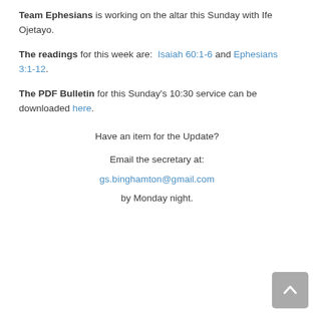Team Ephesians is working on the altar this Sunday with Ife Ojetayo.
The readings for this week are: Isaiah 60:1-6 and Ephesians 3:1-12.
The PDF Bulletin for this Sunday's 10:30 service can be downloaded here.
Have an item for the Update?
Email the secretary at:
gs.binghamton@gmail.com
by Monday night.